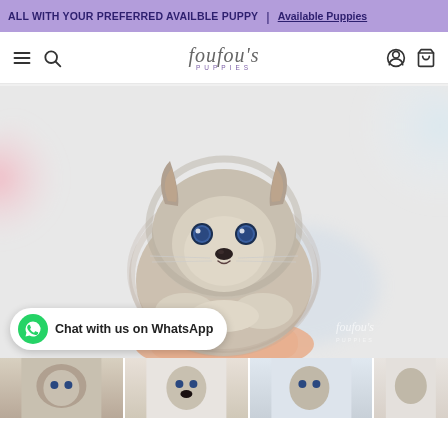ALL WITH YOUR PREFERRED AVAILBLE PUPPY | Available Puppies
[Figure (logo): Foufou's Puppies logo with script font and navigation icons (hamburger menu, search, account, cart)]
[Figure (photo): Close-up photo of a small fluffy gray and white Pomeranian puppy with blue eyes being held in a human hand against a blurred light background. Foufou Puppies watermark in bottom right corner.]
Chat with us on WhatsApp